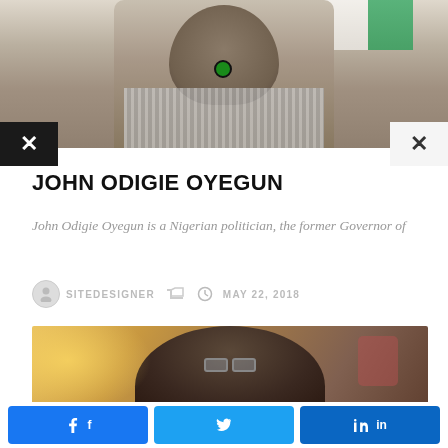[Figure (photo): Photo of John Odigie Oyegun, a man in striped traditional attire with a green brooch, in front of Nigerian flag, with X close buttons on left (dark background) and right (light background)]
JOHN ODIGIE OYEGUN
John Odigie Oyegun is a Nigerian politician, the former Governor of
SITEDESIGNER  MAY 22, 2018
[Figure (photo): Photo of a bald man wearing glasses and a suit, smiling, in a warm-lit indoor setting]
f  Share on Facebook  |  Twitter  |  in  Share on LinkedIn